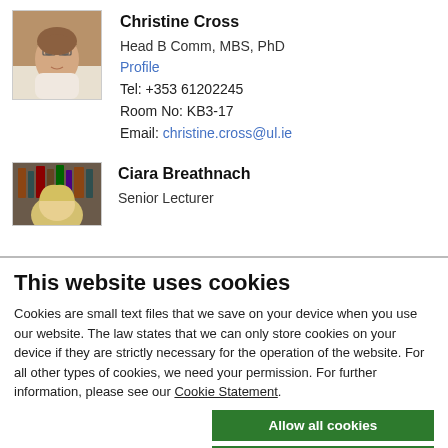[Figure (photo): Headshot photo of Christine Cross, a woman with glasses and a floral top]
Christine Cross
Head B Comm, MBS, PhD
Profile
Tel: +353 61202245
Room No: KB3-17
Email: christine.cross@ul.ie
[Figure (photo): Partial headshot photo of Ciara Breathnach, a woman with blonde hair in front of bookshelves]
Ciara Breathnach
Senior Lecturer
This website uses cookies
Cookies are small text files that we save on your device when you use our website. The law states that we can only store cookies on your device if they are strictly necessary for the operation of the website. For all other types of cookies, we need your permission. For further information, please see our Cookie Statement.